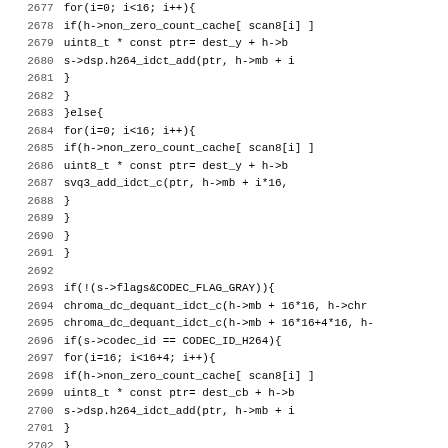[Figure (screenshot): Source code listing (C code) with line numbers 2677-2708, showing nested for loops and if statements for H.264 video codec decoding logic involving non_zero_count_cache, h264_idct_add, svq3_add_idct_c, chroma_dc_dequant_idct_c, and related functions.]